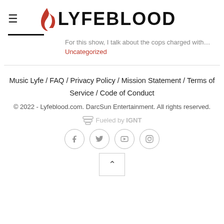≡  LYFEBLOOD
For this show, I talk about the cops charged with…
Uncategorized
Music Lyfe / FAQ / Privacy Policy / Mission Statement / Terms of Service / Code of Conduct
© 2022 - Lyfeblood.com. DarcSun Entertainment. All rights reserved.
Fueled by IGNT